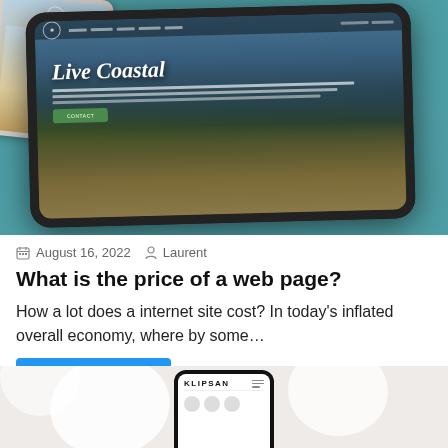[Figure (screenshot): Tablet mockup showing a coastal real estate website with 'Live Coastal' heading over a beach/boardwalk background, on a teal background with a second tablet partially visible behind]
August 16, 2022   Laurent
What is the price of a web page?
How a lot does a internet site cost? In today's inflated overall economy, where by some…
Website Development
[Figure (photo): Bottom portion of a smartphone showing 'KLIPSAN' brand name on screen, placed on a light grey/white surface]